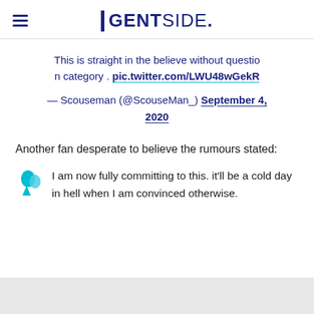GENTSIDE.
This is straight in the believe without question category . pic.twitter.com/LWU48wGekR
— Scouseman (@ScouseMan_) September 4, 2020
Another fan desperate to believe the rumours stated:
I am now fully committing to this. it'll be a cold day in hell when I am convinced otherwise.